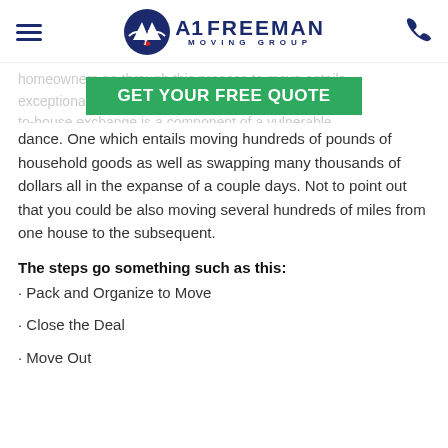A1 Freeman Moving Group
homeowners go through this process to move entails exceptionally the house-to-house exchange is a component of a vulnerable dance. One which entails moving hundreds of pounds of household goods as well as swapping many thousands of dollars all in the expanse of a couple days. Not to point out that you could be also moving several hundreds of miles from one house to the subsequent.
[Figure (other): Green CTA banner with text GET YOUR FREE QUOTE]
The steps go something such as this:
· Pack and Organize to Move
· Close the Deal
· Move Out